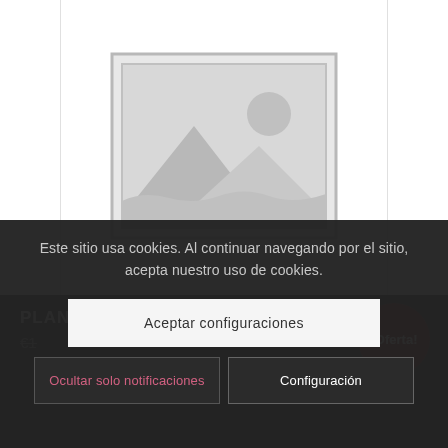[Figure (illustration): Placeholder image icon — a grey framed square with a mountain/landscape and sun silhouette, indicating no product image available]
PLAN PRO
€1
¡Oferta!
Este sitio usa cookies. Al continuar navegando por el sitio, acepta nuestro uso de cookies.
Aceptar configuraciones
Ocultar solo notificaciones
Configuración